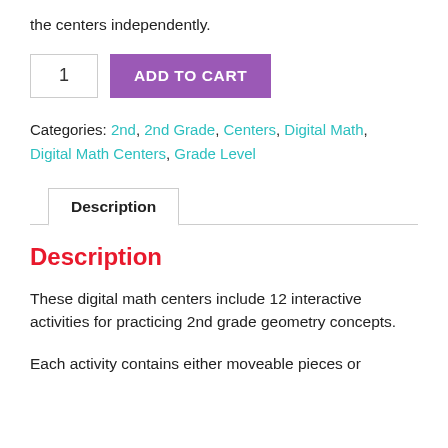the centers independently.
1  ADD TO CART
Categories: 2nd, 2nd Grade, Centers, Digital Math, Digital Math Centers, Grade Level
Description
Description
These digital math centers include 12 interactive activities for practicing 2nd grade geometry concepts.
Each activity contains either moveable pieces or